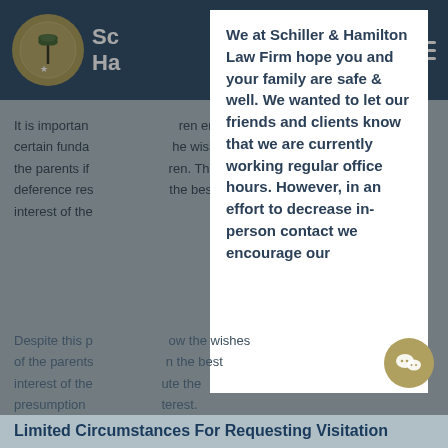Schiller & Hamilton Law Firm
It is importan... children enjoy certain funda... he wishes of the parents if... ren. This deference res... the best interest of the...
[Figure (screenshot): Modal popup with bold dark blue text: We at Schiller & Hamilton Law Firm hope you and your family are safe & well. We wanted to let our friends and clients know that we are currently working regular office hours. However, in an effort to decrease in-person contact we encourage our]
Despite this p... ow the wishes of the parents... n the best interest of the... ute the presumption... terest. Refuting this... positio... obtain visitati...
Limited Circumstances For Requesting Visitation